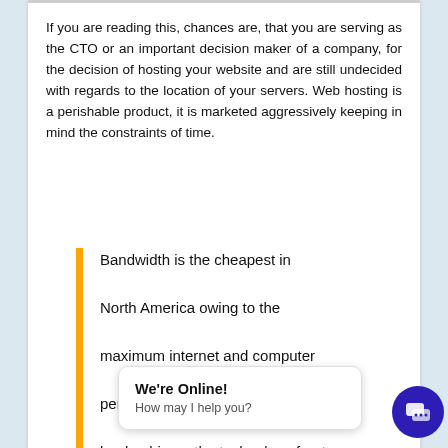If you are reading this, chances are, that you are serving as the CTO or an important decision maker of a company, for the decision of hosting your website and are still undecided with regards to the location of your servers. Web hosting is a perishable product, it is marketed aggressively keeping in mind the constraints of time.
Bandwidth is the cheapest in North America owing to the maximum internet and computer penetration. And America's leadership on the technology front ensures continues levels for almost all kinds of
We're Online! How may I help you?